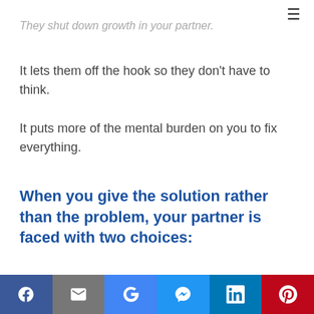They shut down growth in your partner.
It lets them off the hook so they don't have to think.
It puts more of the mental burden on you to fix everything.
When you give the solution rather than the problem, your partner is faced with two choices:
Social share bar: Facebook, Email, Google, Messenger, LinkedIn, Pinterest